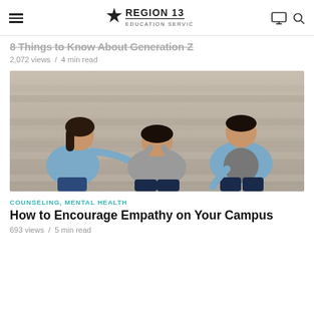Region 13 Education Service Center
8 Things to Know About Generation Z
2,072 views / 4 min read
[Figure (photo): Three teenagers sitting on outdoor steps; one person in the center has their head in their hands while the two on either side offer comfort and support.]
COUNSELING, MENTAL HEALTH
How to Encourage Empathy on Your Campus
693 views / 5 min read